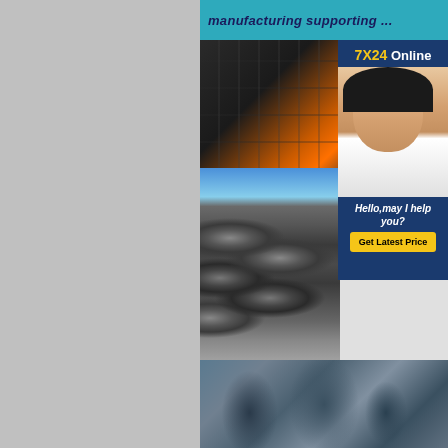manufacturing supporting ...
[Figure (photo): Steel manufacturing plant interior with bright molten metal and industrial scaffolding]
[Figure (infographic): 7X24 Online customer service panel with agent wearing headset, 'Hello, may I help you?' text and 'Get Latest Price' button]
[Figure (photo): Stack of large spiral welded steel pipes outdoors against blue sky]
[Figure (photo): Steel coils and pipes in industrial setting]